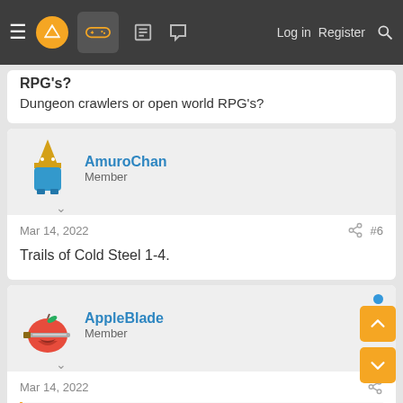Navigation bar with hamburger menu, logo, gamepad icon, forum icons, Log in, Register, Search
RPG's?
Dungeon crawlers or open world RPG's?
AmuroChan
Member
Mar 14, 2022  #6
Trails of Cold Steel 1-4.
AppleBlade
Member
Mar 14, 2022
Evil Calvin said: